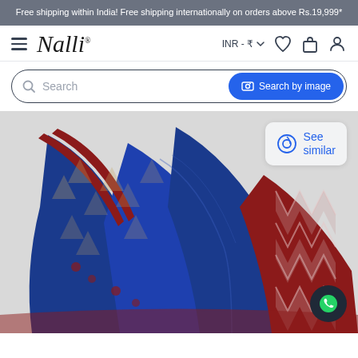Free shipping within India! Free shipping internationally on orders above Rs.19,999*
[Figure (logo): Nalli logo with hamburger menu, INR currency selector, heart/cart/user icons]
[Figure (screenshot): Search bar with search icon placeholder text and blue Search by image button]
[Figure (photo): Blue and red ikat/patola silk saree displayed in a folded drape style showing geometric triangle patterns and zigzag border on red pallu, with a See similar button overlay and WhatsApp chat button]